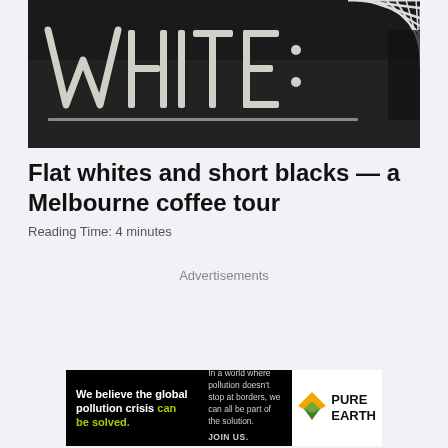[Figure (photo): A chalkboard with the word WHITE written in white chalk, partially cropped, with a diagonal striped graphic element in the top right corner.]
Flat whites and short blacks — a Melbourne coffee tour
Reading Time: 4 minutes
Advertisements
[Figure (infographic): A Pure Earth advertisement banner. Left section (black background): 'We believe the global pollution crisis can be solved.' Right section: 'In a world where pollution doesn't stop at borders, we can all be part of the solution. JOIN US.' Logo section: Pure Earth logo with diamond/arrow icon and 'PURE EARTH' text.]